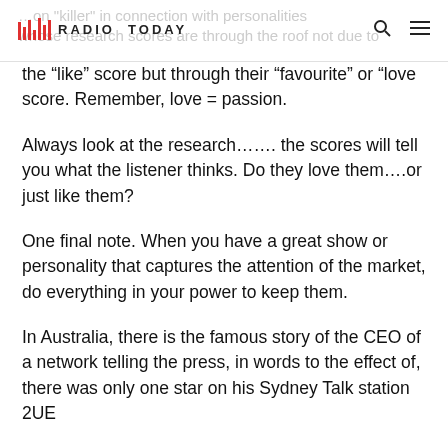Radio Today
the “like” score but through their “favourite” or “love score. Remember, love = passion.
Always look at the research……. the scores will tell you what the listener thinks. Do they love them….or just like them?
One final note. When you have a great show or personality that captures the attention of the market, do everything in your power to keep them.
In Australia, there is the famous story of the CEO of a network telling the press, in words to the effect of, there was only one star on his Sydney Talk station 2UE